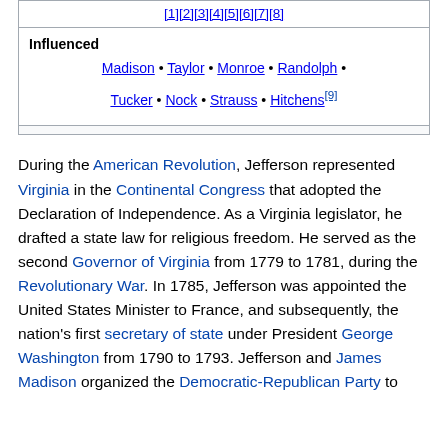| [1][2][3][4][5][6][7][8] |
| Influenced | Madison • Taylor • Monroe • Randolph • Tucker • Nock • Strauss • Hitchens[9] |
During the American Revolution, Jefferson represented Virginia in the Continental Congress that adopted the Declaration of Independence. As a Virginia legislator, he drafted a state law for religious freedom. He served as the second Governor of Virginia from 1779 to 1781, during the Revolutionary War. In 1785, Jefferson was appointed the United States Minister to France, and subsequently, the nation's first secretary of state under President George Washington from 1790 to 1793. Jefferson and James Madison organized the Democratic-Republican Party to